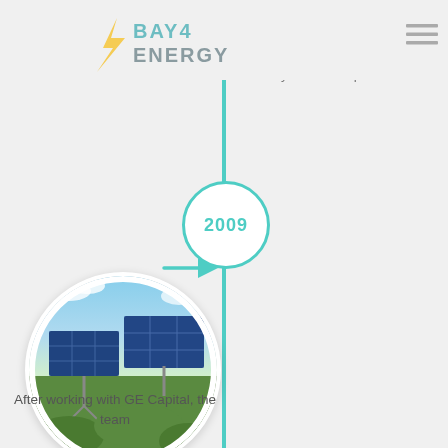[Figure (logo): Bay4 Energy logo with lightning bolt in yellow, text in teal/gray]
[Figure (illustration): Hamburger menu icon (three horizontal lines)]
business. Both GE Capital Technology Finance and the Bay4 servicing group operate on the Bay4 software platform.
[Figure (other): Timeline year marker circle with '2009' in teal]
[Figure (other): Teal right-pointing arrow]
[Figure (photo): Circular photo of solar panels in a field with blue sky and green vegetation]
After working with GE Capital, the team